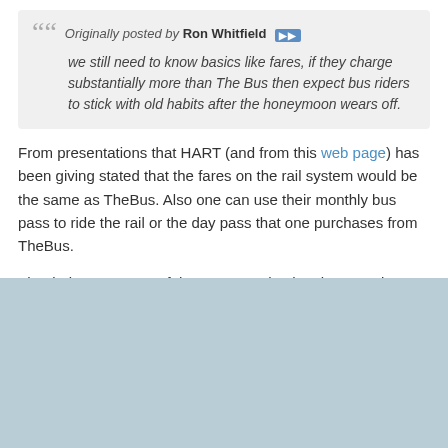Originally posted by Ron Whitfield
we still need to know basics like fares, if they charge substantially more than The Bus then expect bus riders to stick with old habits after the honeymoon wears off.
From presentations that HART (and from this web page) has been giving stated that the fares on the rail system would be the same as TheBus. Also one can use their monthly bus pass to ride the rail or the day pass that one purchases from TheBus.
That being case one of the reasons why they haven't given a set price yet is because no one will know what TheBus fares will be like when the rail starts operation in 2025.